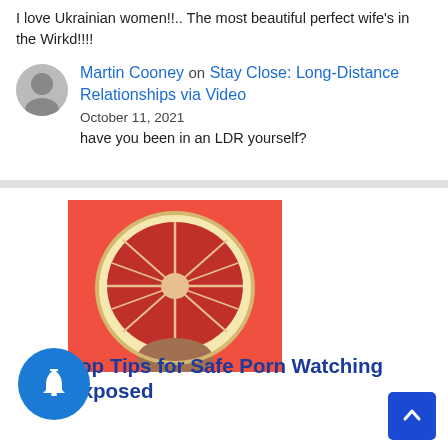I love Ukrainian women!!.. The most beautiful perfect wife's in the Wirkd!!!!
Martin Cooney on Stay Close: Long-Distance Relationships via Video
October 11, 2021
have you been in an LDR yourself?
[Figure (photo): A hand holding a halved grapefruit against a coral/red background]
Top Tips for Safe Porn Watching Exposed